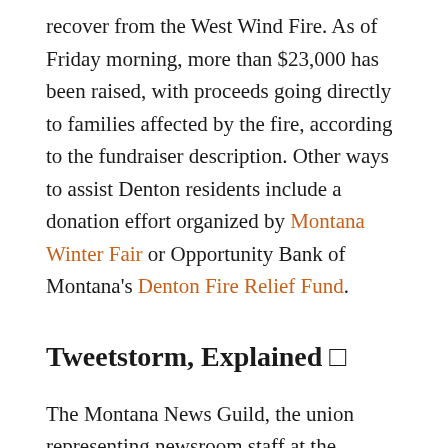recover from the West Wind Fire. As of Friday morning, more than $23,000 has been raised, with proceeds going directly to families affected by the fire, according to the fundraiser description. Other ways to assist Denton residents include a donation effort organized by Montana Winter Fair or Opportunity Bank of Montana's Denton Fire Relief Fund.
Tweetstorm, Explained 🐦
The Montana News Guild, the union representing newsroom staff at the Billings Gazette, took to Twitter this week to decry a bid by Alden Global Capital to purchase the Gazette's parent company,